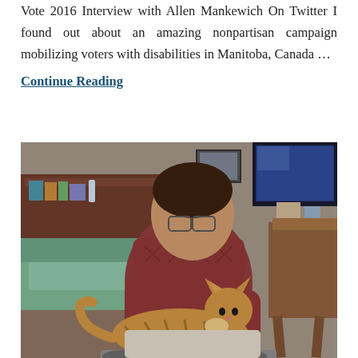Vote 2016 Interview with Allen Mankewich On Twitter I found out about an amazing nonpartisan campaign mobilizing voters with disabilities in Manitoba, Canada …
Continue Reading
[Figure (photo): A man wearing glasses and a red/maroon patterned sweater sits in a wheelchair, leaning over a large tabby cat resting on his lap. The room behind him shows a bed with green bedding and a headboard with shelves, and a desk with a TV/monitor on the right side.]